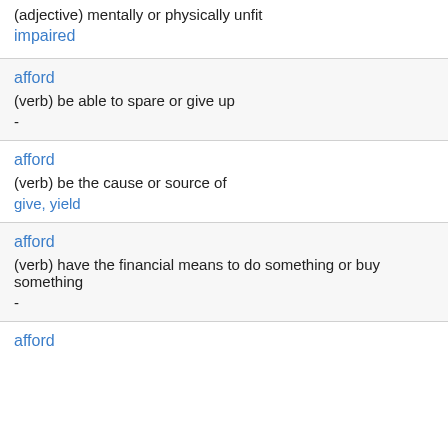(adjective) mentally or physically unfit
impaired
afford
(verb) be able to spare or give up
-
afford
(verb) be the cause or source of
give, yield
afford
(verb) have the financial means to do something or buy something
-
afford